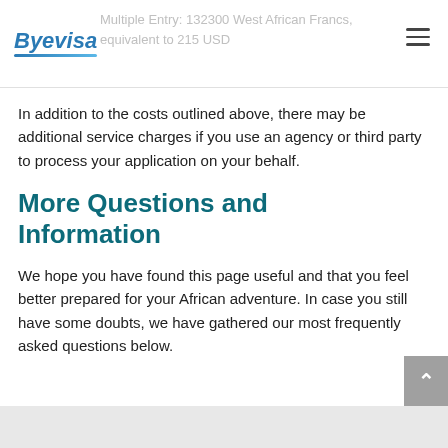Byevisa | Multiple Entry 132300 West African Francs, equivalent to 215 USD
In addition to the costs outlined above, there may be additional service charges if you use an agency or third party to process your application on your behalf.
More Questions and Information
We hope you have found this page useful and that you feel better prepared for your African adventure. In case you still have some doubts, we have gathered our most frequently asked questions below.